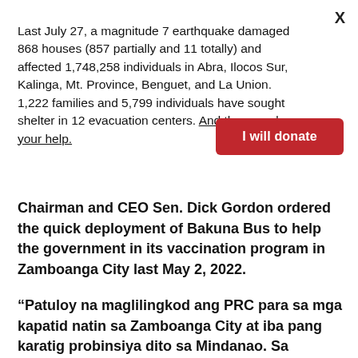Last July 27, a magnitude 7 earthquake damaged 868 houses (857 partially and 11 totally) and affected 1,748,258 individuals in Abra, Ilocos Sur, Kalinga, Mt. Province, Benguet, and La Union. 1,222 families and 5,799 individuals have sought shelter in 12 evacuation centers. And they need your help.
I will donate
Chairman and CEO Sen. Dick Gordon ordered the quick deployment of Bakuna Bus to help the government in its vaccination program in Zamboanga City last May 2, 2022.
“Patuloy na maglilingkod ang PRC para sa mga kapatid natin sa Zamboanga City at iba pang karatig probinsiya dito sa Mindanao. Sa katunayan, walang humpay ang deployment ng ating Bakuna Buses upang makamit natin ang herd immunity sa lalong